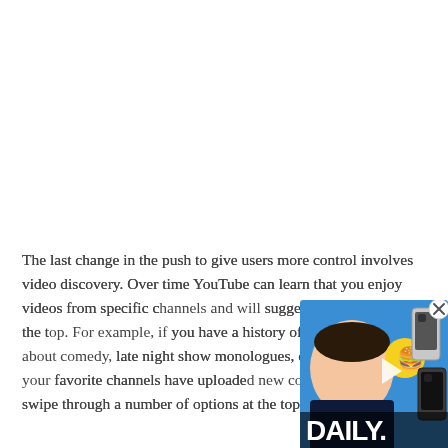The last change in the push to give users more control involves video discovery. Over time YouTube can learn that you enjoy videos from specific channels and will suggest these options at the top. For example, if you have a history of looking up videos about comedy, late night show monologues, or cooking, and your favorite channels have uploaded new content, you can swipe through a number of options at the top of the screen.
[Figure (screenshot): Video thumbnail overlay showing a man with food emojis and two Google Pixel phones, with text 'DAILY.' and a play button, plus a close (X) button in the top right corner.]